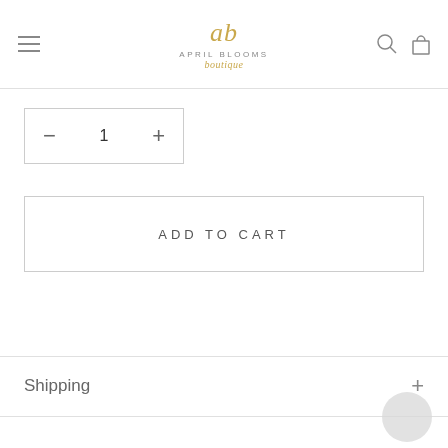[Figure (logo): April Blooms Boutique logo with gold cursive 'ab' monogram and grey text]
[Figure (other): Quantity selector box with minus, 1, plus controls]
[Figure (other): Add to Cart button]
Shipping
[Figure (other): Chat support bubble in lower right corner]